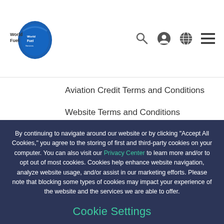World Fuel Services logo and navigation icons
Aviation Credit Terms and Conditions
Website Terms and Conditions
Privacy Center
By continuing to navigate around our website or by clicking "Accept All Cookies," you agree to the storing of first and third-party cookies on your computer. You can also visit our Privacy Center to learn more and/or to opt out of most cookies. Cookies help enhance website navigation, analyze website usage, and/or assist in our marketing efforts. Please note that blocking some types of cookies may impact your experience of the website and the services we are able to offer.
Cookie Settings
ACCEPT ALL COOKIES